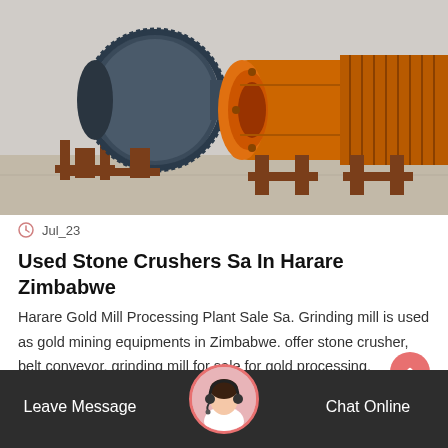[Figure (photo): Industrial ball mills / grinding mills — a large dark blue mill with gear teeth on the left and an orange cylindrical grinding mill on the right, on a concrete floor outdoors.]
Jul_23
Used Stone Crushers Sa In Harare Zimbabwe
Harare Gold Mill Processing Plant Sale Sa. Grinding mill is used as gold mining equipments in Zimbabwe. offer stone crusher, belt conveyor, grinding mill for sale for gold processing. Mashonaland…
Leave Message   Chat Online